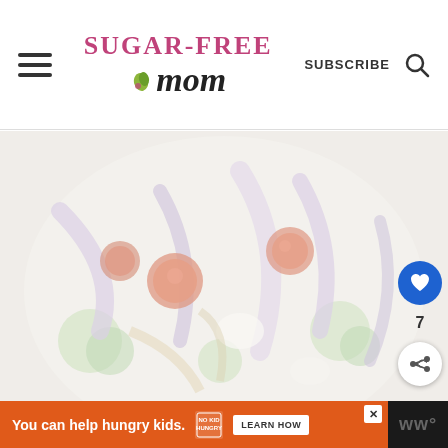Sugar-Free Mom — SUBSCRIBE
[Figure (photo): Close-up photo of a vegetable salad bowl with broccoli, cherry tomatoes, red onion slices, and other colorful vegetables, lightly washed out/faded]
7
[Figure (infographic): Orange advertisement banner: 'You can help hungry kids. NO KID HUNGRY. LEARN HOW' with a close button (X) and WW logo on the right]